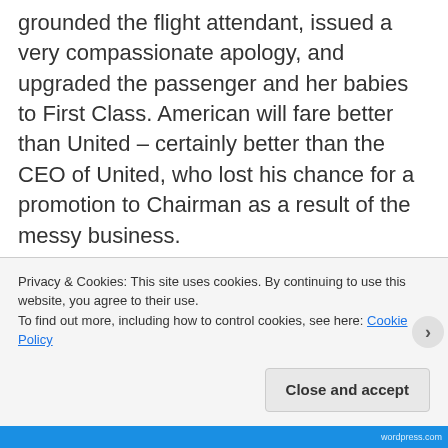grounded the flight attendant, issued a very compassionate apology, and upgraded the passenger and her babies to First Class. American will fare better than United – certainly better than the CEO of United, who lost his chance for a promotion to Chairman as a result of the messy business.
I am sympathetic to flight crews. Passengers increasingly take out their frustrations on flight attendants and gate agents when it is
Privacy & Cookies: This site uses cookies. By continuing to use this website, you agree to their use.
To find out more, including how to control cookies, see here: Cookie Policy